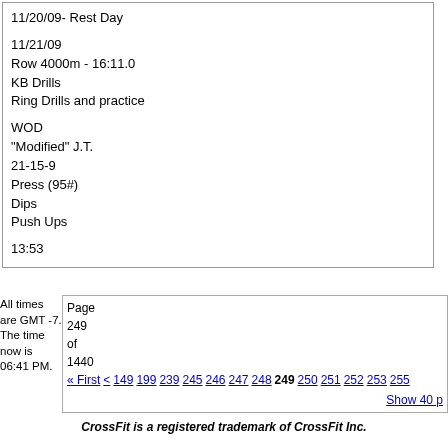11/20/09- Rest Day

11/21/09
Row 4000m - 16:11.0
KB Drills
Ring Drills and practice

WOD
"Modified" J.T.
21-15-9
Press (95#)
Dips
Push Ups

13:53
All times are GMT -7. The time now is 06:41 PM.
Page 249 of 1440
« First  <  149  199  239  245  246  247  248  249  250  251  252  253  255
Show 40 p
CrossFit is a registered trademark of CrossFit Inc.